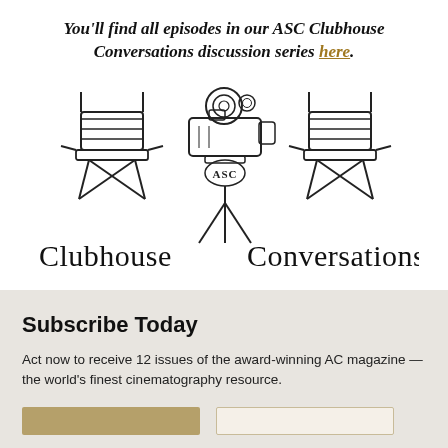You'll find all episodes in our ASC Clubhouse Conversations discussion series here.
[Figure (logo): ASC Clubhouse Conversations logo: two director's chairs flanking a film camera on a tripod with 'ASC' monogram, with the words 'Clubhouse Conversations' below in decorative serif font]
Subscribe Today
Act now to receive 12 issues of the award-winning AC magazine — the world's finest cinematography resource.